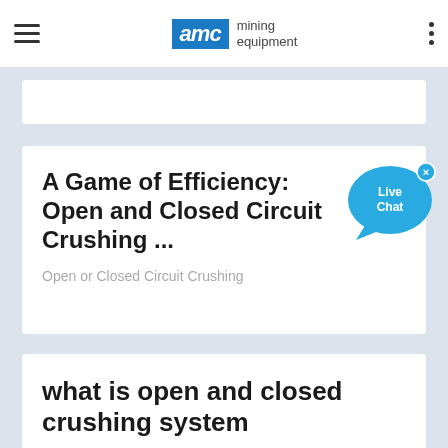AMC mining equipment
A Game of Efficiency: Open and Closed Circuit Crushing ...
Open or Closed Circuit Crushing
what is open and closed crushing system
Pennsylvania Crusher - Size Reduction Technology Closed-circuit crushing is a means of controlling product top size by a specified top size fo...